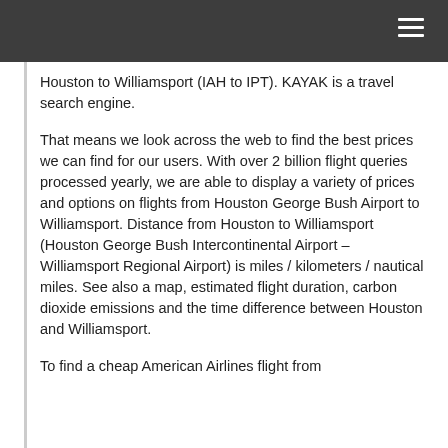Houston to Williamsport (IAH to IPT). KAYAK is a travel search engine.
That means we look across the web to find the best prices we can find for our users. With over 2 billion flight queries processed yearly, we are able to display a variety of prices and options on flights from Houston George Bush Airport to Williamsport. Distance from Houston to Williamsport (Houston George Bush Intercontinental Airport – Williamsport Regional Airport) is miles / kilometers / nautical miles. See also a map, estimated flight duration, carbon dioxide emissions and the time difference between Houston and Williamsport.
To find a cheap American Airlines flight from